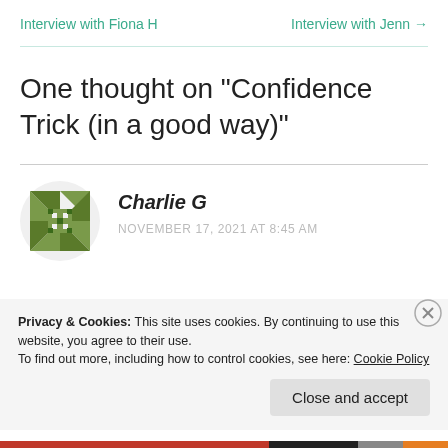Interview with Fiona H    Interview with Jenn →
One thought on “Confidence Trick (in a good way)”
Charlie G
NOVEMBER 17, 2021 AT 8:45 AM
Privacy & Cookies: This site uses cookies. By continuing to use this website, you agree to their use.
To find out more, including how to control cookies, see here: Cookie Policy
Close and accept